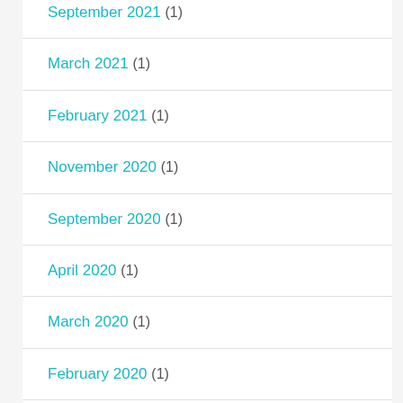September 2021 (1)
March 2021 (1)
February 2021 (1)
November 2020 (1)
September 2020 (1)
April 2020 (1)
March 2020 (1)
February 2020 (1)
January 2020 (1)